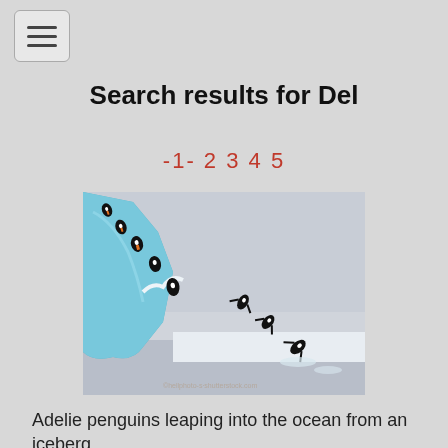☰ (menu button)
Search results for Del
-1- 2 3 4 5
[Figure (photo): Adelie penguins leaping off a blue iceberg into the ocean, with a grey overcast sky in the background. A watermark is visible at the bottom right of the image.]
Adelie penguins leaping into the ocean from an iceberg.